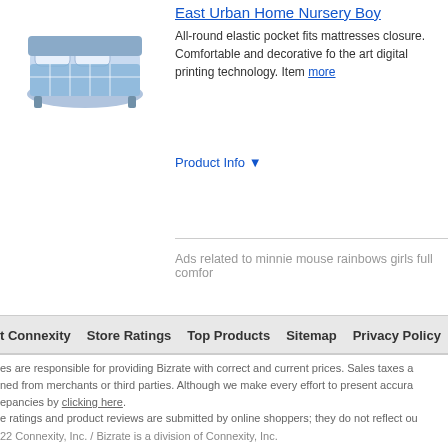East Urban Home Nursery Boy
All-round elastic pocket fits mattresses closure. Comfortable and decorative fo the art digital printing technology. Item more
Product Info ▼
Ads related to minnie mouse rainbows girls full comfor
t Connexity   Store Ratings   Top Products   Sitemap   Privacy Policy   User Agreement
es are responsible for providing Bizrate with correct and current prices. Sales taxes a ned from merchants or third parties. Although we make every effort to present accura epancies by clicking here.
e ratings and product reviews are submitted by online shoppers; they do not reflect ou
22 Connexity, Inc. / Bizrate is a division of Connexity, Inc.